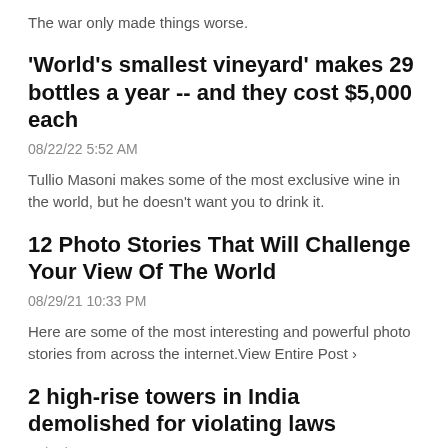The war only made things worse.
'World's smallest vineyard' makes 29 bottles a year -- and they cost $5,000 each
08/22/22 5:52 AM
Tullio Masoni makes some of the most exclusive wine in the world, but he doesn't want you to drink it.
12 Photo Stories That Will Challenge Your View Of The World
08/29/21 10:33 PM
Here are some of the most interesting and powerful photo stories from across the internet.View Entire Post ›
2 high-rise towers in India demolished for violating laws
08/28/22 2:31 PM